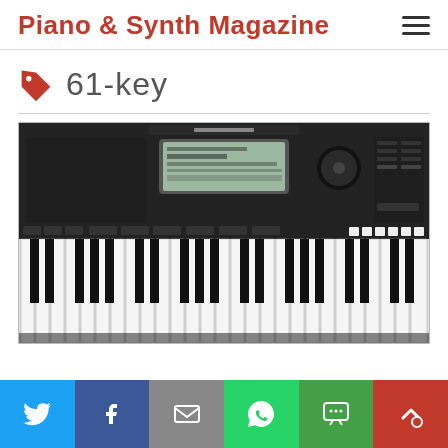Piano & Synth Magazine
61-key
[Figure (photo): Yamaha 61-key keyboard synthesizer, black, showing control panel with display screen and full 61-key keyboard.]
Social share bar: Twitter, Facebook, Email, WhatsApp, SMS, Share